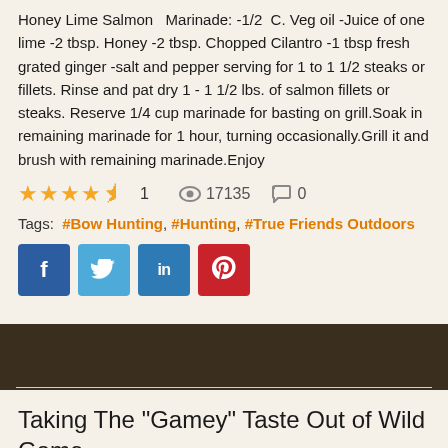Honey Lime Salmon   Marinade: -1/2  C. Veg oil -Juice of one lime -2 tbsp. Honey -2 tbsp. Chopped Cilantro -1 tbsp fresh grated ginger -salt and pepper serving for 1 to 1 1/2 steaks or fillets. Rinse and pat dry 1 - 1 1/2 lbs. of salmon fillets or steaks. Reserve 1/4 cup marinade for basting on grill.Soak in remaining marinade for 1 hour, turning occasionally.Grill it and brush with remaining marinade.Enjoy
★★★★☆ 1  👁 17135  💬 0
Tags: #Bow Hunting, #Hunting, #True Friends Outdoors
[Figure (other): Social share buttons: Facebook (blue), Twitter (light blue), LinkedIn (blue), Pinterest (red)]
Taking The "Gamey" Taste Out of Wild Game